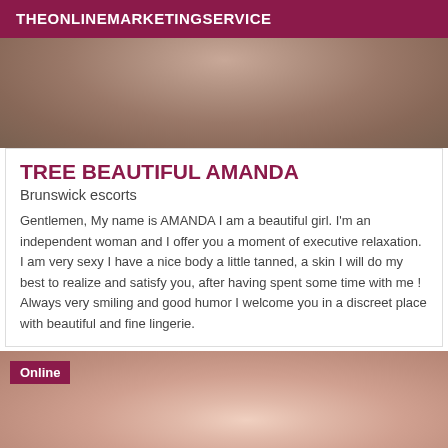THEONLINEMARKETINGSERVICE
[Figure (photo): Close-up photo of a person's neck and upper chest area with tanned skin]
TREE BEAUTIFUL AMANDA
Brunswick escorts
Gentlemen, My name is AMANDA I am a beautiful girl. I'm an independent woman and I offer you a moment of executive relaxation. I am very sexy I have a nice body a little tanned, a skin I will do my best to realize and satisfy you, after having spent some time with me ! Always very smiling and good humor I welcome you in a discreet place with beautiful and fine lingerie.
[Figure (photo): Photo of a woman with dark red/brown hair, partially visible, with an 'Online' badge overlay]